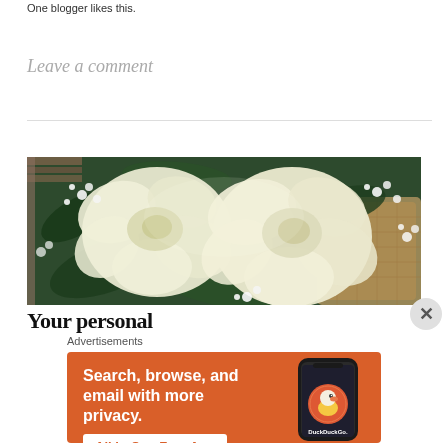One blogger likes this.
Leave a comment
[Figure (photo): A close-up photograph of white/cream roses with baby's breath flowers and green leaves in a wicker basket, shot from above with soft lighting.]
Your personal
Advertisements
[Figure (infographic): DuckDuckGo advertisement banner with orange background. Text reads: 'Search, browse, and email with more privacy. All in One Free App'. Shows a smartphone with DuckDuckGo app and logo.]